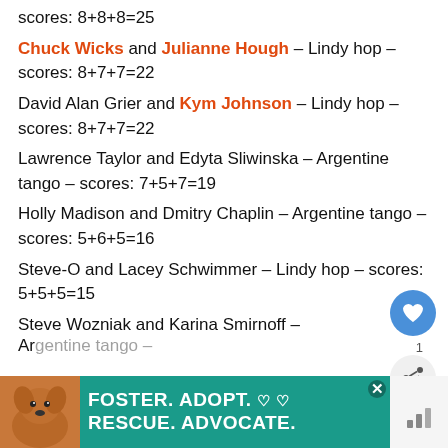scores: 8+8+8=25 (cropped top)
Chuck Wicks and Julianne Hough – Lindy hop – scores: 8+7+7=22
David Alan Grier and Kym Johnson – Lindy hop – scores: 8+7+7=22
Lawrence Taylor and Edyta Sliwinska – Argentine tango – scores: 7+5+7=19
Holly Madison and Dmitry Chaplin – Argentine tango – scores: 5+6+5=16
Steve-O and Lacey Schwimmer – Lindy hop – scores: 5+5+5=15
Steve Wozniak and Karina Smirnoff – Argentine tango (cropped)
[Figure (other): Foster Adopt Rescue Advocate advertisement banner with dog image]
[Figure (other): What's Next UI widget showing 'Stars Pair Off with...']